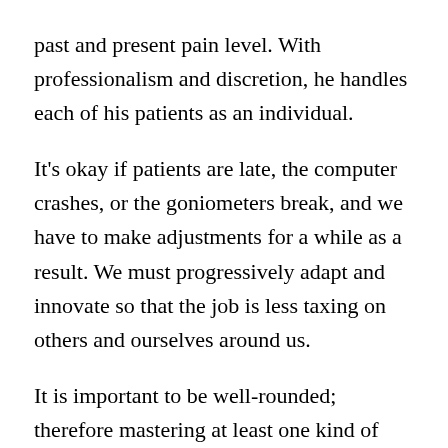past and present pain level. With professionalism and discretion, he handles each of his patients as an individual.
It's okay if patients are late, the computer crashes, or the goniometers break, and we have to make adjustments for a while as a result. We must progressively adapt and innovate so that the job is less taxing on others and ourselves around us.
It is important to be well-rounded; therefore mastering at least one kind of physical treatment is necessary. This comes from having a broad knowledge foundation and a wide range of experience. Art, music, science, and social studies are examples of extracurricular activities that students